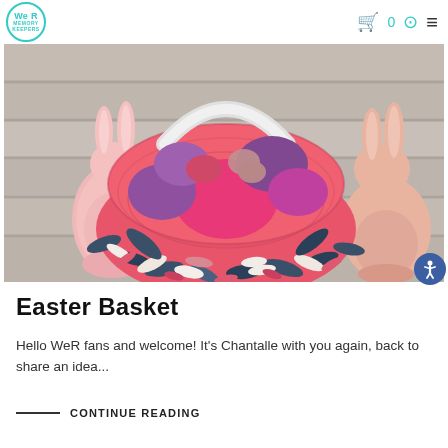We R Memory Keepers logo, cart icon 0, user icon, menu icon
[Figure (photo): An Easter basket filled with pink, purple, and magenta Easter eggs, decorated with colorful paper leaf/floral die-cuts, flanked by two ceramic bunny figurines on a wood plank surface.]
Easter Basket
Hello WeR fans and welcome! It's Chantalle with you again, back to share an idea...
CONTINUE READING